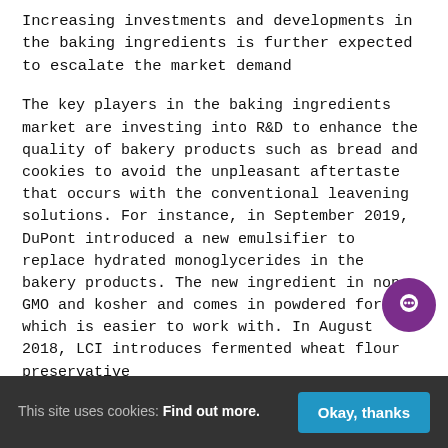Increasing investments and developments in the baking ingredients is further expected to escalate the market demand
The key players in the baking ingredients market are investing into R&D to enhance the quality of bakery products such as bread and cookies to avoid the unpleasant aftertaste that occurs with the conventional leavening solutions. For instance, in September 2019, DuPont introduced a new emulsifier to replace hydrated monoglycerides in the bakery products. The new ingredient in non-GMO and kosher and comes in powdered form, which is easier to work with. In August 2018, LCI introduces fermented wheat flour preservative [text cut off]
This site uses cookies: Find out more.